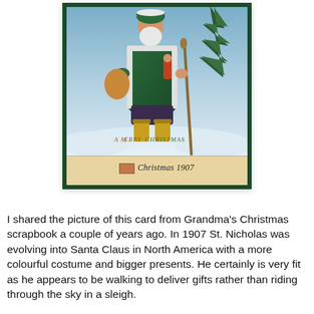[Figure (illustration): Vintage 1907 Christmas postcard showing St. Nicholas/Santa Claus figure in a green fur-trimmed coat, holding a walking staff and a small doll figure, with a Christmas tree branch over his shoulder, walking through snow. Text 'A MERRY CHRISTMAS' appears on the postcard image, and below in cursive 'Christmas 1907' on a tan/cream background strip.]
I shared the picture of this card from Grandma's Christmas scrapbook a couple of years ago. In 1907 St. Nicholas was evolving into Santa Claus in North America with a more colourful costume and bigger presents. He certainly is very fit as he appears to be walking to deliver gifts rather than riding through the sky in a sleigh.